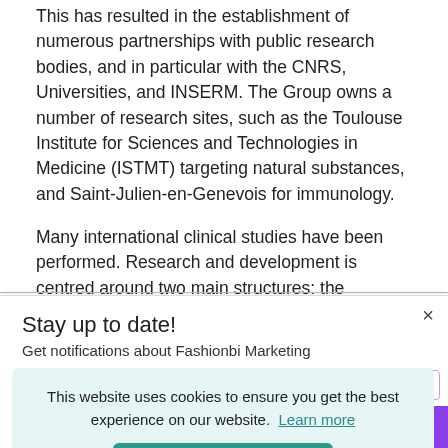This has resulted in the establishment of numerous partnerships with public research bodies, and in particular with the CNRS, Universities, and INSERM. The Group owns a number of research sites, such as the Toulouse Institute for Sciences and Technologies in Medicine (ISTMT) targeting natural substances, and Saint-Julien-en-Genevois for immunology.
Many international clinical studies have been performed. Research and development is centred around two main structures: the Research and
Stay up to date!
Get notifications about Fashionbi Marketing
This website uses cookies to ensure you get the best experience on our website. Learn more
Got it!